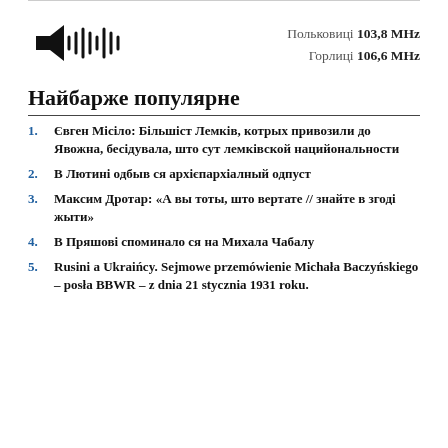[Figure (other): Audio speaker icon with sound waves]
Польковиці 103,8 MHz
Горлиці 106,6 MHz
Найбарже популярне
Євген Місіло: Більшіст Лемків, котрых привозили до Явожна, бесідувала, што сут лемківской нацийональности
В Лютині одбыв ся архієпархіалный одпуст
Максим Дротар: «А вы тоты, што вертате // знайте в згоді жыти»
В Пряшові споминало ся на Михала Чабалу
Rusini a Ukraińcy. Sejmowe przemówienie Michała Baczyńskiego – posła BBWR – z dnia 21 stycznia 1931 roku.